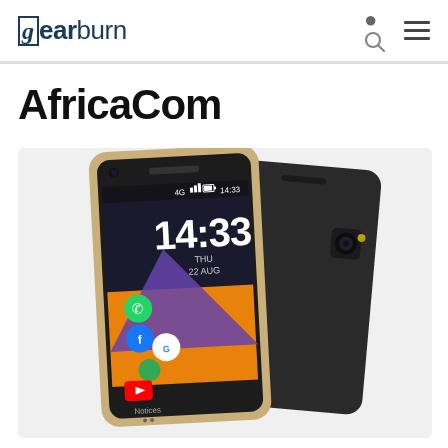gearburn
AfricaCom
[Figure (photo): Two smartphones (front and back view) showing a KaiOS-style interface with time 14:33, date THU 22 AUG, and app icons including WhatsApp, Facebook, Google Maps, and YouTube. The phones are black with a gold/champagne trim.]